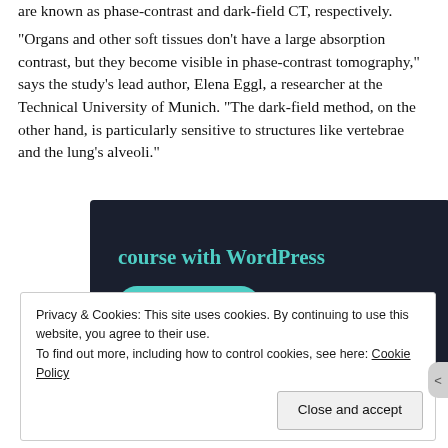are known as phase-contrast and dark-field CT, respectively.
“Organs and other soft tissues don’t have a large absorption contrast, but they become visible in phase-contrast tomography,” says the study’s lead author, Elena Eggl, a researcher at the Technical University of Munich. “The dark-field method, on the other hand, is particularly sensitive to structures like vertebrae and the lung’s alveoli.”
[Figure (screenshot): Advertisement banner with dark background showing text 'course with WordPress' and a teal 'Learn More' button.]
Privacy & Cookies: This site uses cookies. By continuing to use this website, you agree to their use.
To find out more, including how to control cookies, see here: Cookie Policy
Close and accept